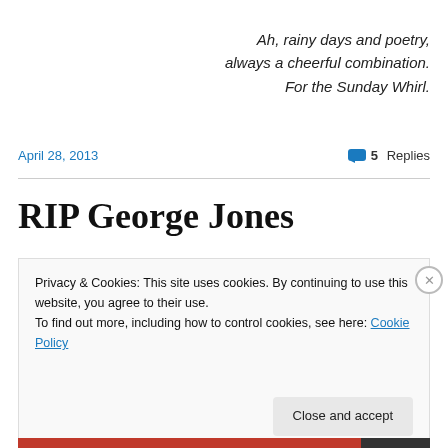Ah, rainy days and poetry, always a cheerful combination. For the Sunday Whirl.
April 28, 2013
5 Replies
RIP George Jones
Privacy & Cookies: This site uses cookies. By continuing to use this website, you agree to their use. To find out more, including how to control cookies, see here: Cookie Policy